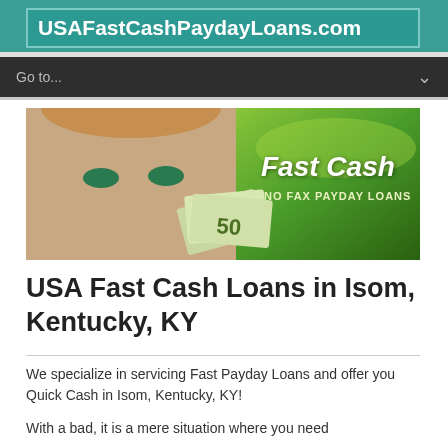USAFastCashPaydayLoans.com
[Figure (screenshot): Navigation bar with 'Go to...' dropdown menu on dark background]
[Figure (photo): Banner image showing a woman's face and cash money fanned out, with text 'Fast Cash NO FAX PAYDAY LOANS' on a green gradient background]
USA Fast Cash Loans in Isom, Kentucky, KY
We specialize in servicing Fast Payday Loans and offer you Quick Cash in Isom, Kentucky, KY!
With a bad, it is a mere situation where you need